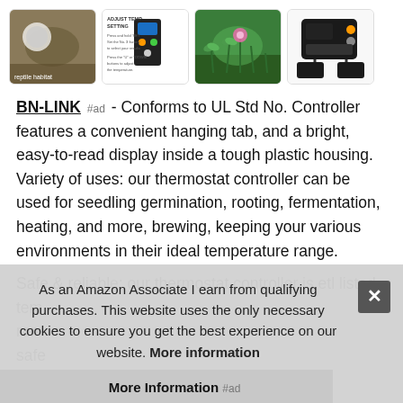[Figure (photo): Row of four product thumbnail images: (1) reptile in terrarium, (2) temperature controller device with text 'ADJUST TEMP SETTING', (3) seedlings/plants with pink flowers, (4) black thermostat controller device]
BN-LINK #ad - Conforms to UL Std No. Controller features a convenient hanging tab, and a bright, easy-to-read display inside a tough plastic housing. Variety of uses: our thermostat controller can be used for seedling germination, rooting, fermentation, heating, and more, brewing, keeping your various environments in their ideal temperature range.
Safe & reliable: our thermostat controller is etl listed, tem range safe
As an Amazon Associate I earn from qualifying purchases. This website uses the only necessary cookies to ensure you get the best experience on our website. More information
More Information #ad